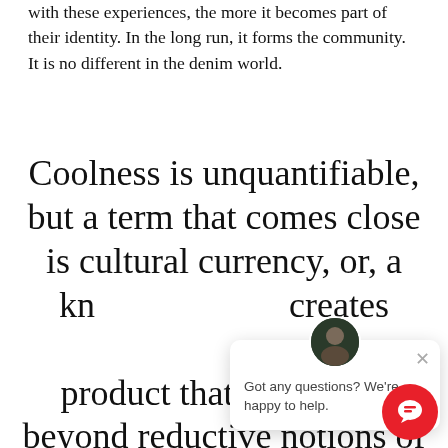with these experiences, the more it becomes part of their identity. In the long run, it forms the community. It is no different in the denim world.
Coolness is unquantifiable, but a term that comes close is cultural currency, or, a kn[owledge that] creates [community] around a product that elevates it beyond reductive notions of cost